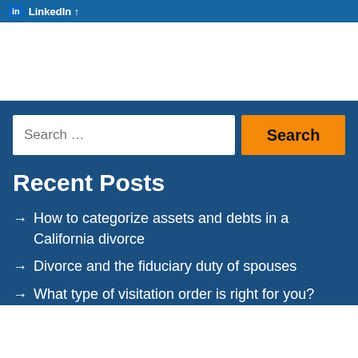LinkedIn
Recent Posts
How to categorize assets and debts in a California divorce
Divorce and the fiduciary duty of spouses
What type of visitation order is right for you?